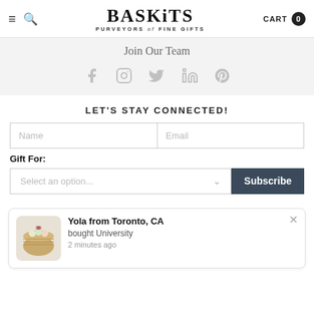BASKiTS PURVEYORS of FINE GIFTS — CART 0
Join Our Team
[Figure (infographic): Social media icons: Facebook, Instagram, Twitter, LinkedIn, Pinterest]
LET'S STAY CONNECTED!
Name | Email input fields
Gift For:
Select an option... Subscribe
Yola from Toronto, CA
bought University
2 minutes ago